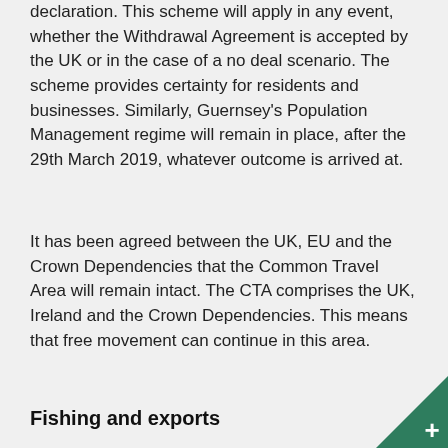declaration. This scheme will apply in any event, whether the Withdrawal Agreement is accepted by the UK or in the case of a no deal scenario. The scheme provides certainty for residents and businesses. Similarly, Guernsey's Population Management regime will remain in place, after the 29th March 2019, whatever outcome is arrived at.
It has been agreed between the UK, EU and the Crown Dependencies that the Common Travel Area will remain intact. The CTA comprises the UK, Ireland and the Crown Dependencies. This means that free movement can continue in this area.
Fishing and exports